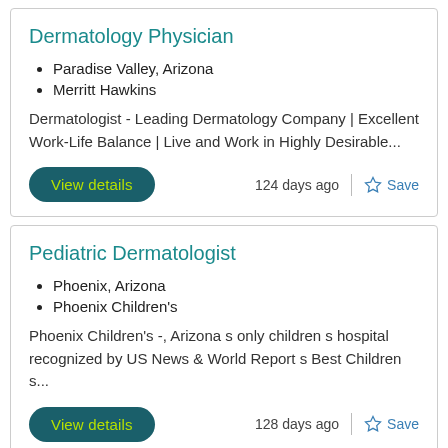Dermatology Physician
Paradise Valley, Arizona
Merritt Hawkins
Dermatologist - Leading Dermatology Company | Excellent Work-Life Balance | Live and Work in Highly Desirable...
View details
124 days ago
Save
Pediatric Dermatologist
Phoenix, Arizona
Phoenix Children's
Phoenix Children's -, Arizona s only children s hospital recognized by US News & World Report s Best Children s...
View details
128 days ago
Save